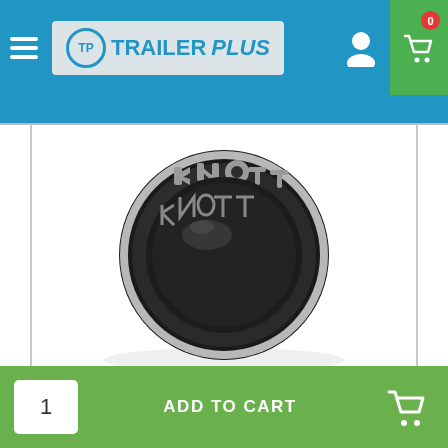[Figure (logo): TrailerPlus logo with TP circular icon and navigation bar with hamburger menu, user icon, and cart icon showing 0 items]
[Figure (photo): Hub cap Knott product photo - round metallic hub cap viewed from front with KNOTT text embossed around the edge]
Hub cap Knott Ø52,1mm Knott
1
ADD TO CART